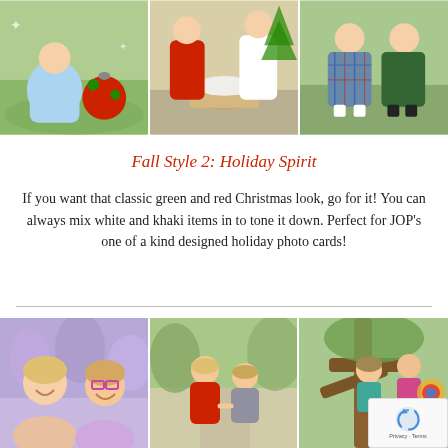[Figure (photo): Three photos at top: toddler in blue dress with red Christmas ornament on grass; family with white dog on ottoman; children in plaid holiday outfits outdoors]
Fall Style 2: Holiday Spirit
If you want that classic green and red Christmas look, go for it! You can always mix white and khaki items in to tone it down. Perfect for JOP's one of a kind designed holiday photo cards!
[Figure (photo): Three photos at bottom: two young girls laughing with purple flowers in background; two young children (girl in red dress, boy in grey) holding hands on path; two girls climbing tree with colorful accessories; reCAPTCHA badge overlay in lower right]